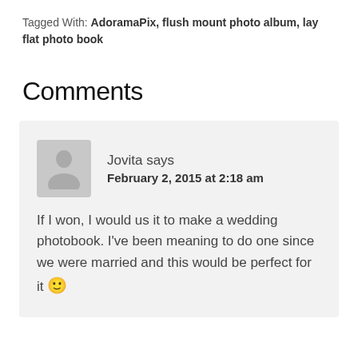Tagged With: AdoramaPix, flush mount photo album, lay flat photo book
Comments
Jovita says
February 2, 2015 at 2:18 am
If I won, I would us it to make a wedding photobook. I've been meaning to do one since we were married and this would be perfect for it 🙂